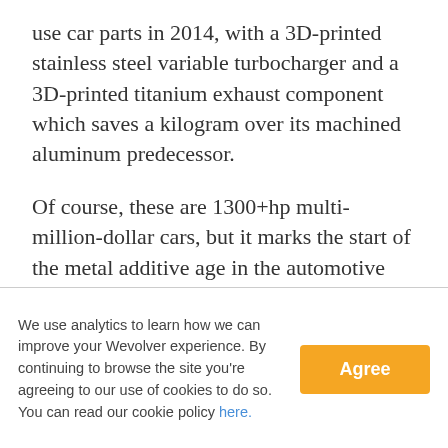use car parts in 2014, with a 3D-printed stainless steel variable turbocharger and a 3D-printed titanium exhaust component which saves a kilogram over its machined aluminum predecessor.
Of course, these are 1300+hp multi-million-dollar cars, but it marks the start of the metal additive age in the automotive industry. Since then, several larger manufacturers have begun
We use analytics to learn how we can improve your Wevolver experience. By continuing to browse the site you're agreeing to our use of cookies to do so. You can read our cookie policy here.